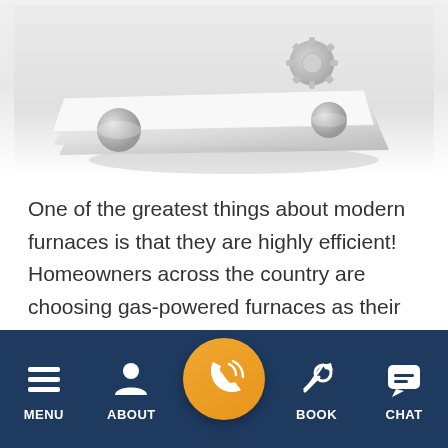[Figure (photo): A 3D render of engineering/blueprint papers with cylindrical rollers and a gear/tool component on a light gray background, partially cropped at top.]
One of the greatest things about modern furnaces is that they are highly efficient! Homeowners across the country are choosing gas-powered furnaces as their main source of heat during the winter, and Cedar Falls residents are no exception. Today's furnaces can have as high as a 95% AFUE rating, heating your home at a fraction of the cost and energy consumption as furnaces of the past.
MENU   ABOUT   [CALL]   BOOK   CHAT